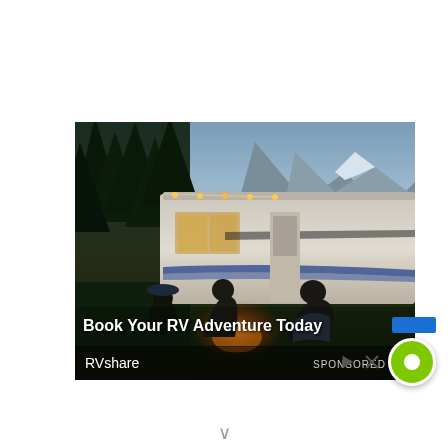[Figure (photo): Advertisement image showing an RV (recreational vehicle) parked at a campsite at dusk, with mountains and trees in the background, string lights on the RV, and people sitting around a campfire in the foreground. Text overlay reads 'Book Your RV Adventure Today' with brand name 'RVshare' and 'SPONSORED' label.]